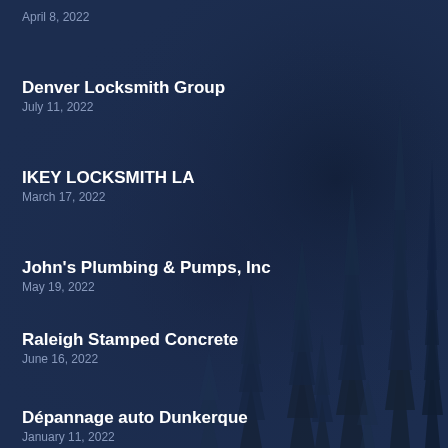April 8, 2022
Denver Locksmith Group
July 11, 2022
IKEY LOCKSMITH LA
March 17, 2022
John's Plumbing & Pumps, Inc
May 19, 2022
Raleigh Stamped Concrete
June 16, 2022
Dépannage auto Dunkerque
January 11, 2022